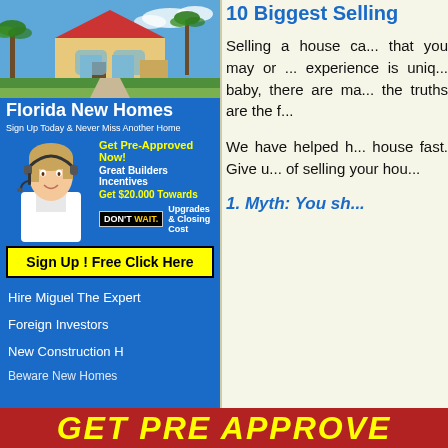[Figure (illustration): Florida new homes real estate advertisement banner with house photo, woman with headset, and call-to-action buttons]
Hire Miguel The Expert
Foreign Investors
New Construction H
Beware New Homes
10 Biggest Selling
Selling a house ca... that you may or ... experience is uniq... baby, there are ma... the truths are the f...
We have helped h... house fast. Give u... of selling your hou...
1. Myth: You sh...
[Figure (illustration): GET PRE APPROVED bottom banner in yellow text on red background]